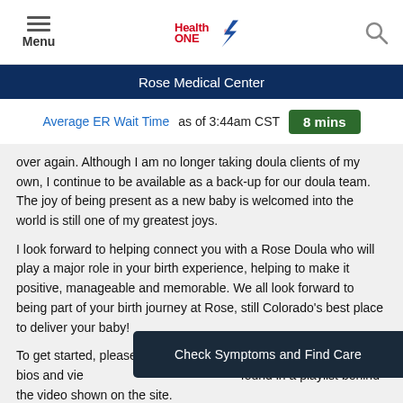Menu | Health ONE | Search
Rose Medical Center
Average ER Wait Time as of 3:44am CST 8 mins
over again. Although I am no longer taking doula clients of my own, I continue to be available as a back-up for our doula team. The joy of being present as a new baby is welcomed into the world is still one of my greatest joys.
I look forward to helping connect you with a Rose Doula who will play a major role in your birth experience, helping to make it positive, manageable and memorable. We all look forward to being part of your birth journey at Rose, still Colorado's best place to deliver your baby!
To get started, please revi... read individual bios and vie... found in a playlist behind the video shown on the site.
Check Symptoms and Find Care